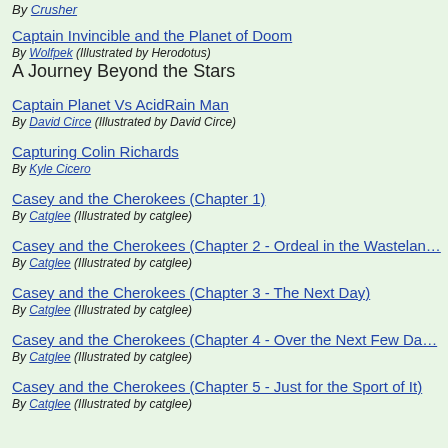By Crusher
Captain Invincible and the Planet of Doom | By Wolfpek (Illustrated by Herodotus) | A Journey Beyond the Stars
Captain Planet Vs AcidRain Man | By David Circe (Illustrated by David Circe)
Capturing Colin Richards | By Kyle Cicero
Casey and the Cherokees (Chapter 1) | By Catglee (Illustrated by catglee)
Casey and the Cherokees (Chapter 2 - Ordeal in the Wasteland) | By Catglee (Illustrated by catglee)
Casey and the Cherokees (Chapter 3 - The Next Day) | By Catglee (Illustrated by catglee)
Casey and the Cherokees (Chapter 4 - Over the Next Few Da...) | By Catglee (Illustrated by catglee)
Casey and the Cherokees (Chapter 5 - Just for the Sport of It) | By Catglee (Illustrated by catglee)